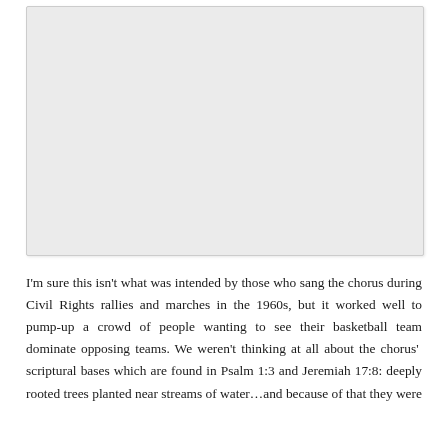[Figure (other): A blank/placeholder image area with light gray background]
I'm sure this isn't what was intended by those who sang the chorus during Civil Rights rallies and marches in the 1960s, but it worked well to pump-up a crowd of people wanting to see their basketball team dominate opposing teams. We weren't thinking at all about the chorus'  scriptural bases which are found in Psalm 1:3 and Jeremiah 17:8: deeply rooted trees planted near streams of water…and because of that they were